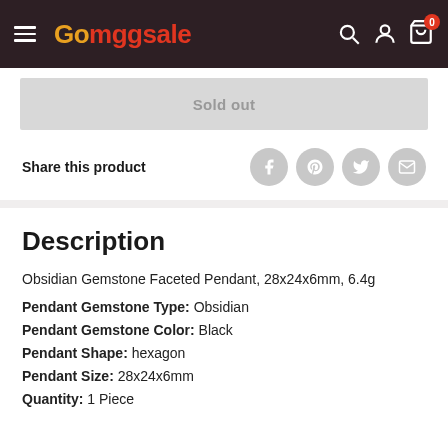Gomggsale — navigation header with search, account, and cart icons
Sold out
Share this product
Description
Obsidian Gemstone Faceted Pendant, 28x24x6mm, 6.4g
Pendant Gemstone Type: Obsidian
Pendant Gemstone Color: Black
Pendant Shape: hexagon
Pendant Size: 28x24x6mm
Quantity: 1 Piece